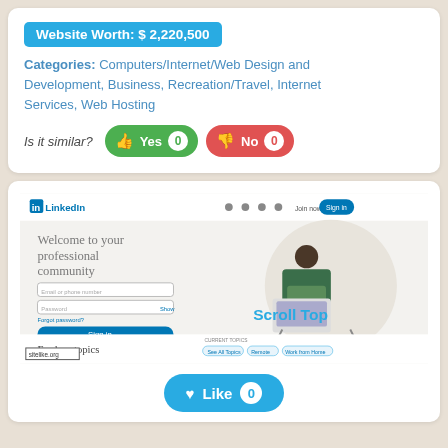Website Worth: $ 2,220,500
Categories: Computers/Internet/Web Design and Development, Business, Recreation/Travel, Internet Services, Web Hosting
Is it similar? Yes 0 No 0
[Figure (screenshot): Screenshot of LinkedIn homepage showing 'Welcome to your professional community' with login form, profile illustration, and 'Explore topics' section. Overlaid with 'Scroll Top' text and 'sitelike.org' watermark.]
Like 0